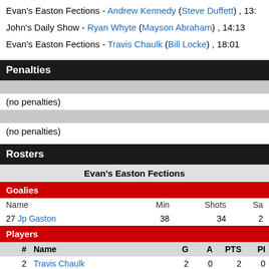Evan's Easton Fections - Andrew Kennedy (Steve Duffett) , 13:...
John's Daily Show - Ryan Whyte (Mayson Abraham) , 14:13
Evan's Easton Fections - Travis Chaulk (Bill Locke) , 18:01
Penalties
(no penalties)
(no penalties)
Rosters
Evan's Easton Fections
Goalies
| Name | Min | Shots | Sa... |
| --- | --- | --- | --- |
| 27 Jp Gaston | 38 | 34 | 2... |
Players
| # | Name | G | A | PTS | PI... |
| --- | --- | --- | --- | --- | --- |
| 2 | Travis Chaulk | 2 | 0 | 2 | 0 |
| 3 | Steve Duffett | 0 | 2 | 2 | 0 |
| 5 | Chris Conrod | 1 | 1 | 2 | 0 |
| 7 | Andrew Kennedy | 1 | 2 | 3 | 0 |
| 8 | Baljit Mudher | 2 | 0 | 2 | 0 |
| 11 | Jonathon Fong | 0 | 1 | 1 | 0 |
| 13 | Bill Locke | 0 | 1 | 1 | 0 |